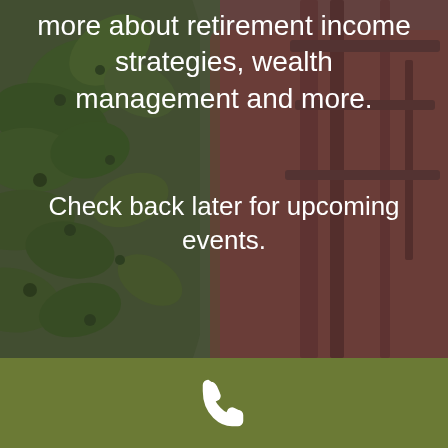[Figure (photo): Background photo showing a person in a red jacket outdoors with green leaves/trees visible on the left side. The image has a dark overlay. The photo is cropped to show the torso area of the person with foliage on the left.]
more about retirement income strategies, wealth management and more.
Check back later for upcoming events.
[Figure (other): Olive green footer bar with a white phone/telephone handset icon centered in it.]